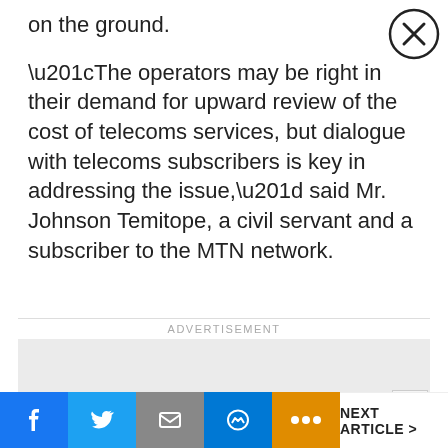on the ground.
“The operators may be right in their demand for upward review of the cost of telecoms services, but dialogue with telecoms subscribers is key in addressing the issue,” said Mr. Johnson Temitope, a civil servant and a subscriber to the MTN network.
ADVERTISEMENT
[Figure (other): Advertisement placeholder box (grey rectangle)]
NEXT ARTICLE >